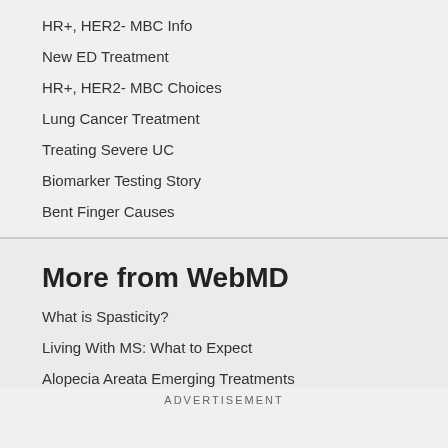HR+, HER2- MBC Info
New ED Treatment
HR+, HER2- MBC Choices
Lung Cancer Treatment
Treating Severe UC
Biomarker Testing Story
Bent Finger Causes
More from WebMD
What is Spasticity?
Living With MS: What to Expect
Alopecia Areata Emerging Treatments
ADVERTISEMENT